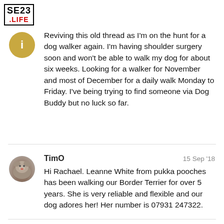[Figure (logo): SE23 LIFE logo — black bordered box with SE23 in bold black and .LIFE in red]
Reviving this old thread as I'm on the hunt for a dog walker again. I'm having shoulder surgery soon and won't be able to walk my dog for about six weeks. Looking for a walker for November and most of December for a daily walk Monday to Friday. I've being trying to find someone via Dog Buddy but no luck so far.
TimO
15 Sep '18
Hi Rachael. Leanne White from pukka pooches has been walking our Border Terrier for over 5 years. She is very reliable and flexible and our dog adores her! Her number is 07931 247322.